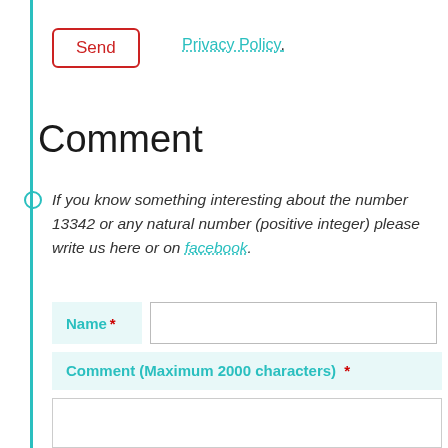Send
Privacy Policy.
Comment
If you know something interesting about the number 13342 or any natural number (positive integer) please write us here or on facebook.
Name *
Comment (Maximum 2000 characters) *